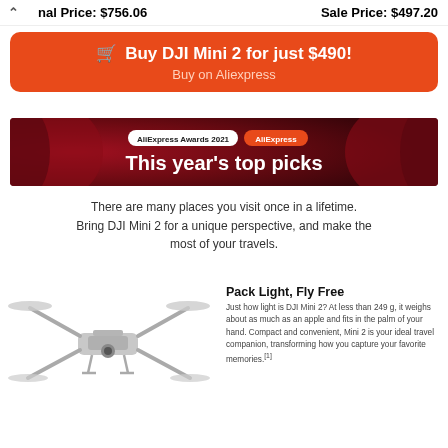nal Price: $756.06    Sale Price: $497.20
Buy DJI Mini 2 for just $490! Buy on Aliexpress
[Figure (illustration): AliExpress Awards 2021 banner with AliExpress logo pill and tagline 'This year's top picks' on dark red background]
There are many places you visit once in a lifetime. Bring DJI Mini 2 for a unique perspective, and make the most of your travels.
[Figure (photo): DJI Mini 2 drone in gray/silver color, folded position, shown from a slightly elevated angle against a white background]
Pack Light, Fly Free
Just how light is DJI Mini 2? At less than 249 g, it weighs about as much as an apple and fits in the palm of your hand. Compact and convenient, Mini 2 is your ideal travel companion, transforming how you capture your favorite memories.[1]